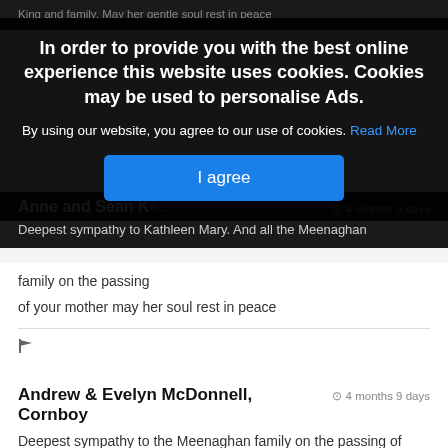King and family. May her gentle soul rest in peace
In order to provide you with the best online experience this website uses cookies. Cookies may be used to personalise Ads.
By using our website, you agree to our use of cookies. Read More
I agree
Anne and Sean K...   ⊙ 4 months 9 days
Deepest sympathy to Kathleen Mary. And all the Meenaghan family on the passing
of your mother may her soul rest in peace
Andrew & Evelyn McDonnell, Cornboy   ⊙ 4 months 9 days
Deepest sympathy to the Meenaghan family on the passing of Mary. May she rest in peace.